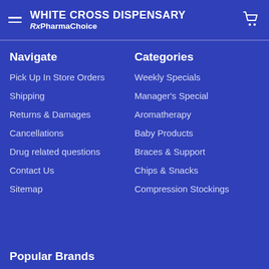WHITE CROSS DISPENSARY Rx PharmaChoice
Navigate
Pick Up In Store Orders
Shipping
Returns & Damages
Cancellations
Drug related questions
Contact Us
Sitemap
Categories
Weekly Specials
Manager's Special
Aromatherapy
Baby Products
Braces & Support
Chips & Snacks
Compression Stockings
Popular Brands